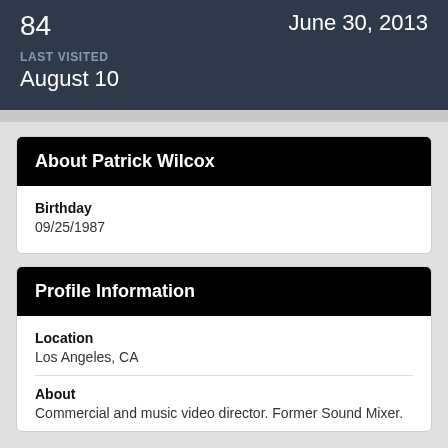84
June 30, 2013
LAST VISITED
August 10
About Patrick Wilcox
Birthday
09/25/1987
Profile Information
Location
Los Angeles, CA
About
Commercial and music video director. Former Sound Mixer.